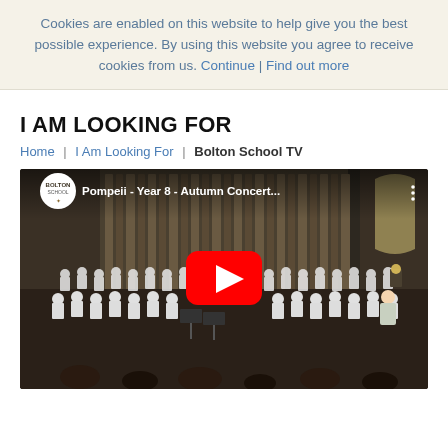Cookies are enabled on this website to help give you the best possible experience. By using this website you agree to receive cookies from us. Continue | Find out more
I AM LOOKING FOR
Home | I Am Looking For | Bolton School TV
[Figure (screenshot): YouTube video embed showing 'Pompeii - Year 8 - Autumn Concert...' with Bolton School logo, a choir of schoolboys in white shirts performing in a hall with large organ pipes, a red YouTube play button overlay in the center.]